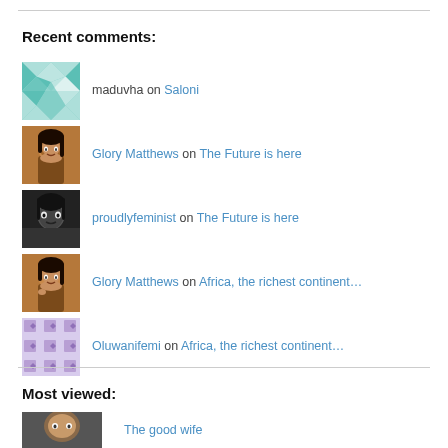Recent comments:
maduvha on Saloni
Glory Matthews on The Future is here
proudlyfeminist on The Future is here
Glory Matthews on Africa, the richest continent…
Oluwanifemi on Africa, the richest continent…
Most viewed:
The good wife